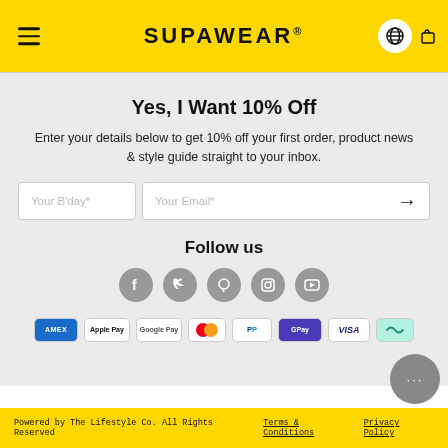SUPAWEAR®
Yes, I Want 10% Off
Enter your details below to get 10% off your first order, product news & style guide straight to your inbox.
Your B'day* | Your Email*
Follow us
[Figure (infographic): Social media icons: Facebook, Twitter, Pinterest, Instagram, YouTube]
[Figure (infographic): Payment method badges: Amex, Apple Pay, Google Pay, Mastercard, PayPal, DPay, Visa, AfterPay]
Powered by The Lifestyle Co. All Rights Reserved  Terms & Conditions  Privacy Policy